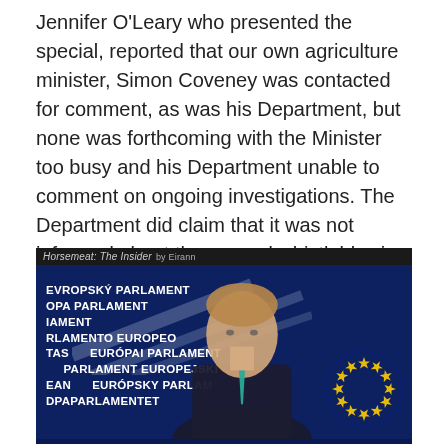Jennifer O'Leary who presented the special, reported that our own agriculture minister, Simon Coveney was contacted for comment, as was his Department, but none was forthcoming with the Minister too busy and his Department unable to comment on ongoing investigations. The Department did claim that it was not informed about the second whistleblowing about Ossory Meats to the UK authorities.
[Figure (screenshot): Screenshot from a TV documentary/broadcast titled 'Horsemeat: The Insider by Eirann' showing a man in a suit speaking at what appears to be the European Parliament. EU Parliament multilingual text visible on the left: EVROPSKÝ PARLAMENT, OPA PARLAMENT, IAMENT, RLAMENTO EUROPEO, TAS EURÓPAI PARLAMENT, PARLAMENT EUROPEJSKI, EAN EURÓPSKY PARLAMENT, DPAPARLAMENTET. EU circle of stars logo visible on right side.]